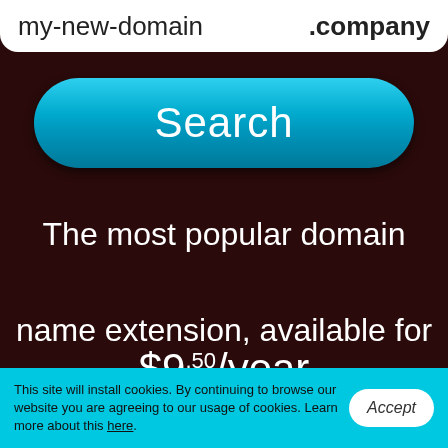[Figure (screenshot): Domain name search input field showing 'my-new-domain' with '.company' extension on white rounded background]
[Figure (screenshot): Blue rounded Search button with gradient styling]
The most popular domain name extension, available for $9.50/year
This site will install cookies. By continuing to browse our website you are agreeing to our usage of cookies. Learn more about this here.